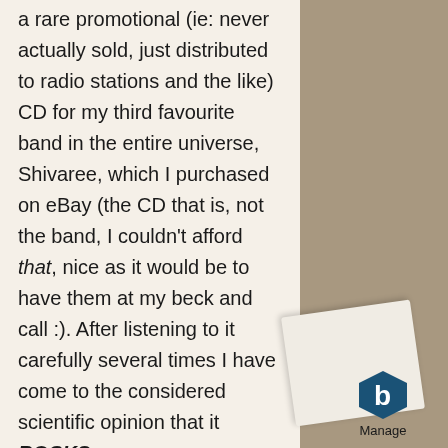a rare promotional (ie: never actually sold, just distributed to radio stations and the like) CD for my third favourite band in the entire universe, Shivaree, which I purchased on eBay (the CD that is, not the band, I couldn't afford that, nice as it would be to have them at my beck and call :). After listening to it carefully several times I have come to the considered scientific opinion that it ROCKS 🙂

It starts out with a live version of Goodnight Moon, recorded
[Figure (logo): Manage logo — a blue hexagonal icon with a white 'b' inside, with the word 'Manage' beneath it, placed on a curled paper corner graphic in the bottom right]